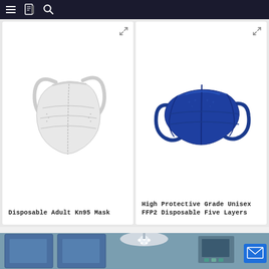Navigation bar with hamburger menu, book icon, and search icon
[Figure (photo): White disposable KN95 adult face mask with ear loops on white background]
Disposable Adult Kn95 Mask
[Figure (photo): Blue high protective grade FFP2 five-layer disposable face mask with ear loops on white background]
High Protective Grade Unisex FFP2 Disposable Five Layers
[Figure (photo): Medical operating room interior with blue panels, surgical lights, and equipment, partially visible at bottom of page]